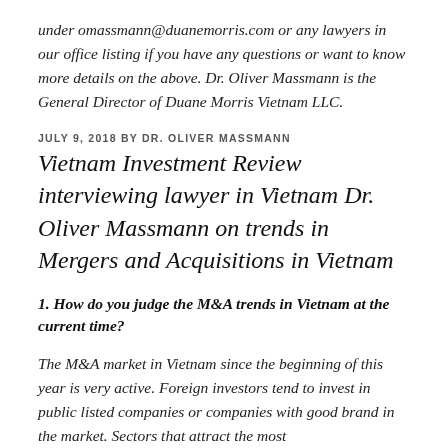under omassmann@duanemorris.com or any lawyers in our office listing if you have any questions or want to know more details on the above. Dr. Oliver Massmann is the General Director of Duane Morris Vietnam LLC.
JULY 9, 2018 BY DR. OLIVER MASSMANN
Vietnam Investment Review interviewing lawyer in Vietnam Dr. Oliver Massmann on trends in Mergers and Acquisitions in Vietnam
1. How do you judge the M&A trends in Vietnam at the current time?
The M&A market in Vietnam since the beginning of this year is very active. Foreign investors tend to invest in public listed companies or companies with good brand in the market. Sectors that attract the most